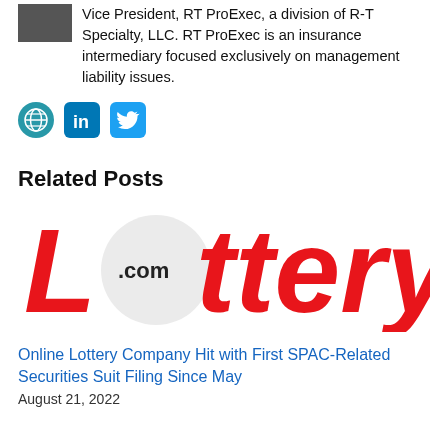Vice President, RT ProExec, a division of R-T Specialty, LLC. RT ProExec is an insurance intermediary focused exclusively on management liability issues.
[Figure (infographic): Three social media icon buttons: globe/website icon (teal circle), LinkedIn icon (blue rounded square), Twitter bird icon (blue rounded square)]
Related Posts
[Figure (logo): Lottery.com logo in bold red text with a light grey circle containing '.com' overlapping the letter O in Lottery]
Online Lottery Company Hit with First SPAC-Related Securities Suit Filing Since May
August 21, 2022